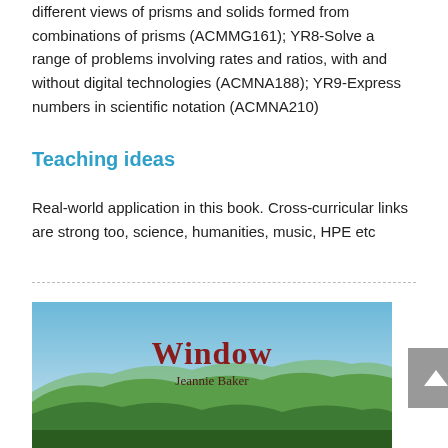different views of prisms and solids formed from combinations of prisms (ACMMG161); YR8-Solve a range of problems involving rates and ratios, with and without digital technologies (ACMNA188); YR9-Express numbers in scientific notation (ACMNA210)
Teaching ideas
Real-world application in this book. Cross-curricular links are strong too, science, humanities, music, HPE etc
[Figure (illustration): Book cover of 'Window' by Jeannie Baker showing a scenic landscape with rolling green hills under a blue sky, with the title 'Window' in large serif font and author name 'Jeannie Baker' below it]